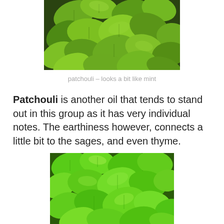[Figure (photo): Close-up photo of patchouli plant leaves, green with serrated edges, densely packed, dark background visible]
patchouli – looks a bit like mint
Patchouli is another oil that tends to stand out in this group as it has very individual notes. The earthiness however, connects a little bit to the sages, and even thyme.
[Figure (photo): Close-up photo of bright green patchouli/mint-like plant leaves with textured surfaces and scalloped edges, densely overlapping]